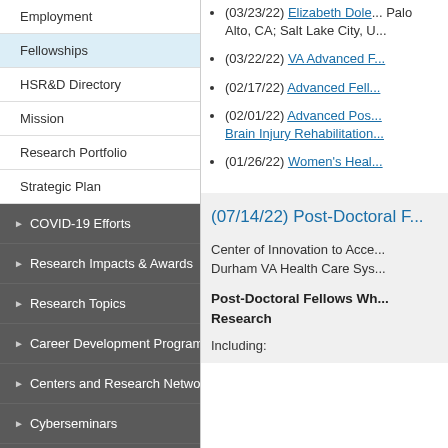Employment
Fellowships
HSR&D Directory
Mission
Research Portfolio
Strategic Plan
▶ COVID-19 Efforts
▶ Research Impacts & Awards
▶ Research Topics
▶ Career Development Program
▶ Centers and Research Networks
▶ Cyberseminars
Partnered Research
For Managers
(03/23/22) Elizabeth Dole... Palo Alto, CA; Salt Lake City, U...
(03/22/22) VA Advanced F...
(02/17/22) Advanced Fell...
(02/01/22) Advanced Pos... Brain Injury Rehabilitation...
(01/26/22) Women's Heal...
(07/14/22) Post-Doctoral F...
Center of Innovation to Acce... Durham VA Health Care Sys...
Post-Doctoral Fellows Wh... Research
Including: